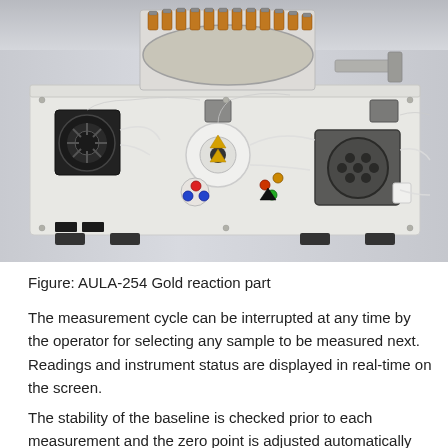[Figure (photo): Photograph of the AULA-254 Gold reaction part — a laboratory instrument viewed from the front/top, showing a white rectangular housing with an autosampler carousel of amber vials on top, and internal components including pumps, tubing, valves, and connectors visible on the front panel. Background is light grey gradient.]
Figure: AULA-254 Gold reaction part
The measurement cycle can be interrupted at any time by the operator for selecting any sample to be measured next. Readings and instrument status are displayed in real-time on the screen.
The stability of the baseline is checked prior to each measurement and the zero point is adjusted automatically